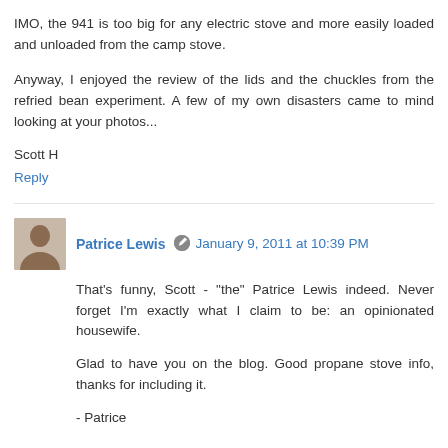IMO, the 941 is too big for any electric stove and more easily loaded and unloaded from the camp stove.
Anyway, I enjoyed the review of the lids and the chuckles from the refried bean experiment. A few of my own disasters came to mind looking at your photos...
Scott H
Reply
Patrice Lewis  January 9, 2011 at 10:39 PM
That's funny, Scott - "the" Patrice Lewis indeed. Never forget I'm exactly what I claim to be: an opinionated housewife.
Glad to have you on the blog. Good propane stove info, thanks for including it.
- Patrice